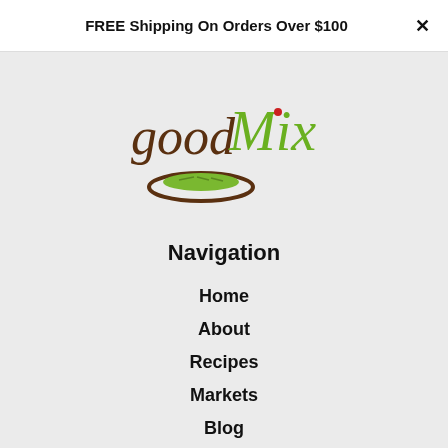FREE Shipping On Orders Over $100  ×
[Figure (logo): goodMix logo with handwritten-style text 'good' in brown and 'Mix' in green, with a brown oval bowl containing green seeds/sprouts underneath]
Navigation
Home
About
Recipes
Markets
Blog